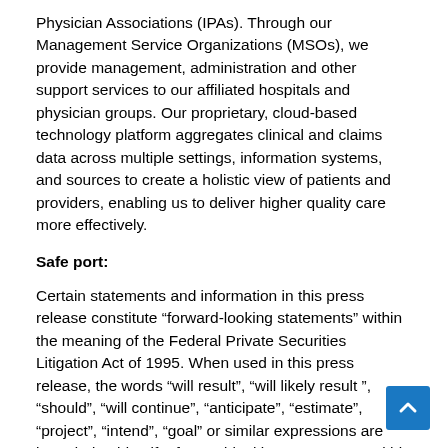Physician Associations (IPAs). Through our Management Service Organizations (MSOs), we provide management, administration and other support services to our affiliated hospitals and physician groups. Our proprietary, cloud-based technology platform aggregates clinical and claims data across multiple settings, information systems, and sources to create a holistic view of patients and providers, enabling us to deliver higher quality care more effectively.
Safe port:
Certain statements and information in this press release constitute “forward-looking statements” within the meaning of the Federal Private Securities Litigation Act of 1995. When used in this press release, the words “will result”, “will likely result ”, “should”, “will continue”, “anticipate”, “estimate”, “project”, “intend”, “goal” or similar expressions are intended to identify “forward-looking statements” within the meaning of the headings Private Litigation Reform Act 1995. Such statem...